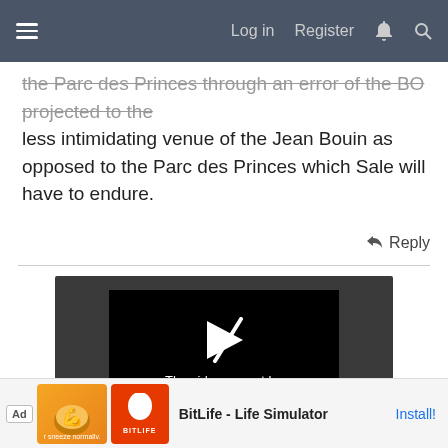≡  Log in  Register  ⚡  🔍
the Parc des Princes through an error of the BO projected to the less intimidating venue of the Jean Bouin as opposed to the Parc des Princes which Sale will have to endure.
↩ Reply
[Figure (screenshot): Video player showing error: The video cannot be played in this browser. (Error Code: 242632)]
[Figure (other): Ad banner: BitLife - Life Simulator game advertisement with Install button]